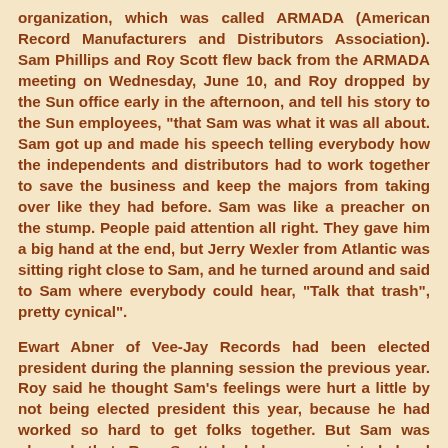organization, which was called ARMADA (American Record Manufacturers and Distributors Association). Sam Phillips and Roy Scott flew back from the ARMADA meeting on Wednesday, June 10, and Roy dropped by the Sun office early in the afternoon, and tell his story to the Sun employees, "that Sam was what it was all about. Sam got up and made his speech telling everybody how the independents and distributors had to work together to save the business and keep the majors from taking over like they had before. Sam was like a preacher on the stump. People paid attention all right. They gave him a big hand at the end, but Jerry Wexler from Atlantic was sitting right close to Sam, and he turned around and said to Sam where everybody could hear, "Talk that trash", pretty cynical".
Ewart Abner of Vee-Jay Records had been elected president during the planning session the previous year. Roy said he thought Sam's feelings were hurt a little by not being elected president this year, because he had worked so hard to get folks together. But Sam was pleased that Roy Scott had been appointed legal counsel. Sam Phillips didn't seem let down, instead energized by the meeting when he came bouncing in sometime later. He said the distributors and manufacturers were finally getting the message that if